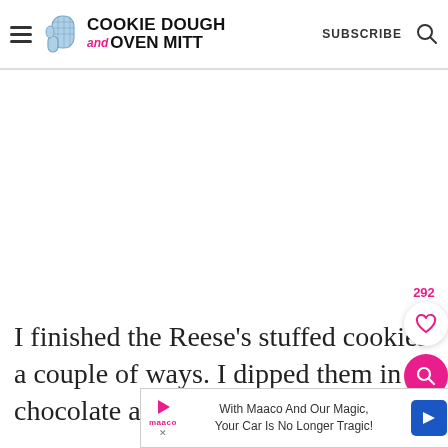Cookie Dough and Oven Mitt — SUBSCRIBE
[Figure (illustration): White advertisement space / blank content area]
I finished the Reese's stuffed cookies a couple of ways. I dipped them in chocolate and sprinkled chopped pea
[Figure (other): Advertisement banner: With Maaco And Our Magic, Your Car Is No Longer Tragic!]